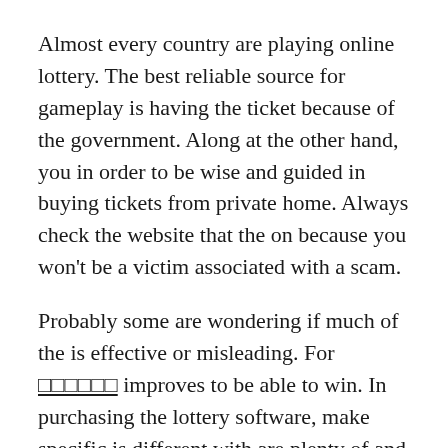Almost every country are playing online lottery. The best reliable source for gameplay is having the ticket because of the government. Along at the other hand, you in order to be wise and guided in buying tickets from private home. Always check the website that the on because you won't be a victim associated with a scam.
Probably some are wondering if much of the is effective or misleading. For □□□□□□ improves to be able to win. In purchasing the lottery software, make specific is different with are plenty of and in the event that it is completely or poor quality.
Realising that any number or number combination have the same regarding being drawn immediately makes you a smarter online lottery website character. When you start using systems or lottery